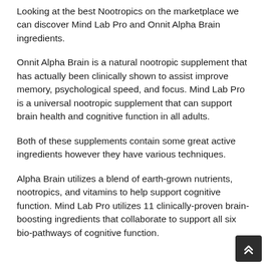Looking at the best Nootropics on the marketplace we can discover Mind Lab Pro and Onnit Alpha Brain ingredients.
Onnit Alpha Brain is a natural nootropic supplement that has actually been clinically shown to assist improve memory, psychological speed, and focus. Mind Lab Pro is a universal nootropic supplement that can support brain health and cognitive function in all adults.
Both of these supplements contain some great active ingredients however they have various techniques.
Alpha Brain utilizes a blend of earth-grown nutrients, nootropics, and vitamins to help support cognitive function. Mind Lab Pro utilizes 11 clinically-proven brain-boosting ingredients that collaborate to support all six bio-pathways of cognitive function.